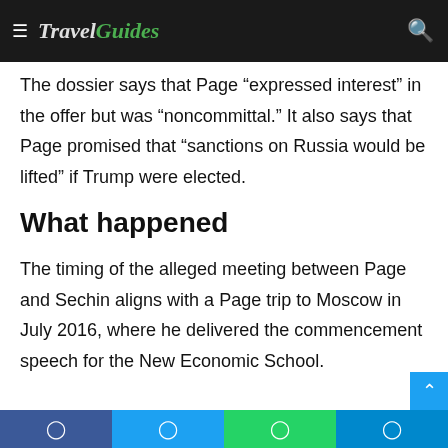TravelGuides
The dossier says that Page "expressed interest" in the offer but was "noncommittal." It also says that Page promised that "sanctions on Russia would be lifted" if Trump were elected.
What happened
The timing of the alleged meeting between Page and Sechin aligns with a Page trip to Moscow in July 2016, where he delivered the commencement speech for the New Economic School.
Facebook | Twitter | WhatsApp | Telegram